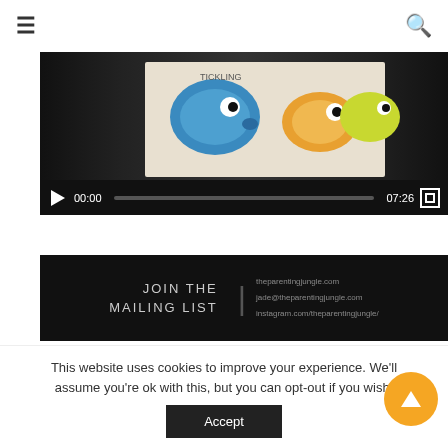☰ [search icon]
[Figure (screenshot): Video player showing a children's book with colorful fish illustrations. Controls show play button, time 00:00, progress bar, duration 07:26, and fullscreen button.]
[Figure (infographic): Black banner reading JOIN THE MAILING LIST with divider and contact info: theparentingjungle.com, jade@theparentingjungle.com, instagram.com/theparentingjungle/]
Get access to the Newsletter...
This website uses cookies to improve your experience. We'll assume you're ok with this, but you can opt-out if you wish.
Accept